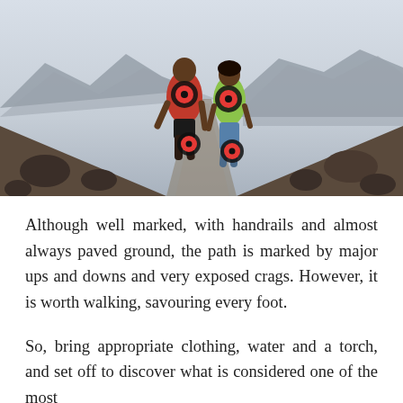[Figure (photo): Two hikers (one in red shirt, one in green/yellow shirt) walking away from camera along a rocky mountain path. Dramatic mountain landscape in background. Red target/tracking markers overlaid on their backs and legs.]
Although well marked, with handrails and almost always paved ground, the path is marked by major ups and downs and very exposed crags. However, it is worth walking, savouring every foot.
So, bring appropriate clothing, water and a torch, and set off to discover what is considered one of the most